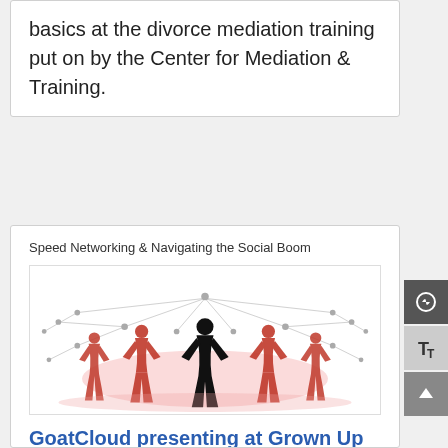basics at the divorce mediation training put on by the Center for Mediation & Training.
Speed Networking & Navigating the Social Boom
[Figure (illustration): Silhouette illustration of women figures in red and black with a network/spider web graphic behind them, representing social networking]
GoatCloud presenting at Grown Up Girlfriends Speed Networking event
Apr 14, 2013 | Blog, Expert-Speaker